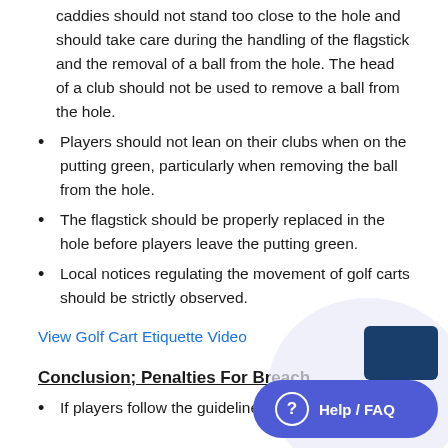caddies should not stand too close to the hole and should take care during the handling of the flagstick and the removal of a ball from the hole. The head of a club should not be used to remove a ball from the hole.
Players should not lean on their clubs when on the putting green, particularly when removing the ball from the hole.
The flagstick should be properly replaced in the hole before players leave the putting green.
Local notices regulating the movement of golf carts should be strictly observed.
View Golf Cart Etiquette Video
Conclusion; Penalties For Breach
If players follow the guidelines in